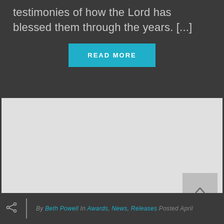testimonies of how the Lord has blessed them through the years. [...]
READ MORE
[Figure (map): A light grey map placeholder area with a scroll-to-top button in the lower right corner.]
By Beth Powell In Awards, News, Releases Posted April